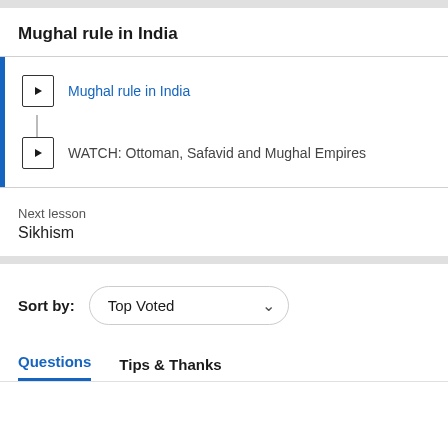Mughal rule in India
Mughal rule in India
WATCH: Ottoman, Safavid and Mughal Empires
Next lesson
Sikhism
Sort by: Top Voted
Questions	Tips & Thanks